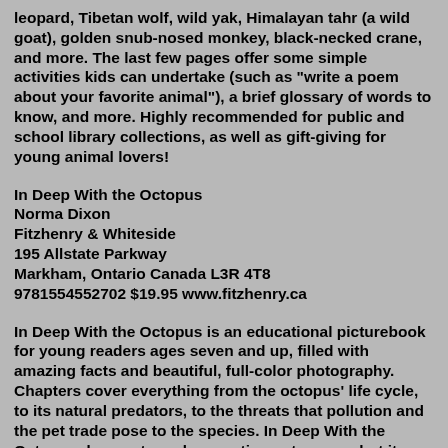leopard, Tibetan wolf, wild yak, Himalayan tahr (a wild goat), golden snub-nosed monkey, black-necked crane, and more. The last few pages offer some simple activities kids can undertake (such as "write a poem about your favorite animal"), a brief glossary of words to know, and more. Highly recommended for public and school library collections, as well as gift-giving for young animal lovers!
In Deep With the Octopus
Norma Dixon
Fitzhenry & Whiteside
195 Allstate Parkway
Markham, Ontario Canada L3R 4T8
9781554552702 $19.95 www.fitzhenry.ca
In Deep With the Octopus is an educational picturebook for young readers ages seven and up, filled with amazing facts and beautiful, full-color photography. Chapters cover everything from the octopus' life cycle, to its natural predators, to the threats that pollution and the pet trade pose to the species. In Deep With the Octopus does not condemn eating octopuses, but it does speak out against the cruel practice of eating octopuses while they are still alive. "Because octopuses have sophisticated and complex nervous systems, they feel pain just as strongly as we do." In Deep With the Octopus also